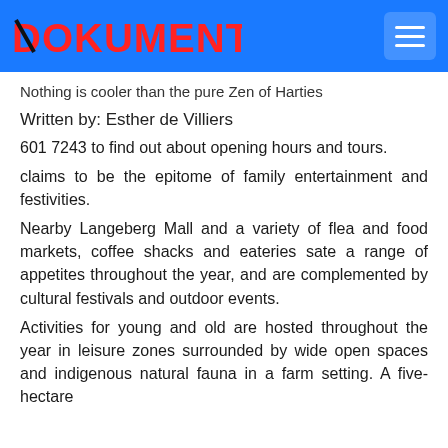DOKUMENT
Nothing is cooler than the pure Zen of Harties
Written by: Esther de Villiers
601 7243 to find out about opening hours and tours.
claims to be the epitome of family entertainment and festivities.
Nearby Langeberg Mall and a variety of flea and food markets, coffee shacks and eateries sate a range of appetites throughout the year, and are complemented by cultural festivals and outdoor events.
Activities for young and old are hosted throughout the year in leisure zones surrounded by wide open spaces and indigenous natural fauna in a farm setting. A five-hectare